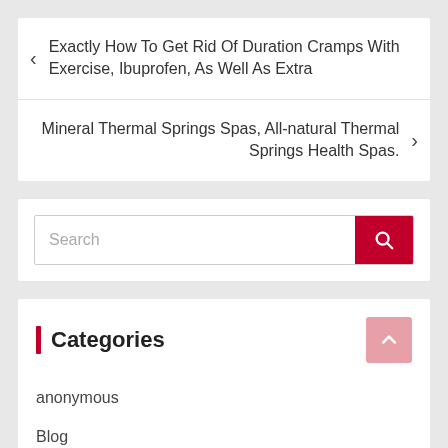< Exactly How To Get Rid Of Duration Cramps With Exercise, Ibuprofen, As Well As Extra
Mineral Thermal Springs Spas, All-natural Thermal Springs Health Spas. >
Search
Categories
anonymous
Blog
Camping